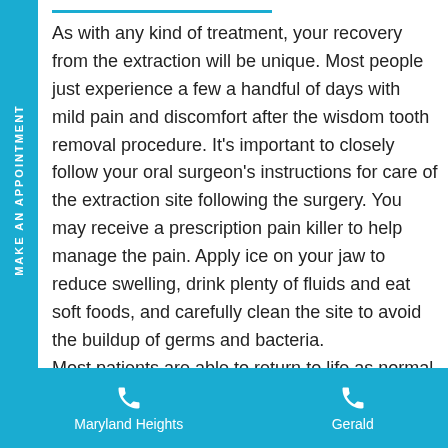As with any kind of treatment, your recovery from the extraction will be unique. Most people just experience a few a handful of days with mild pain and discomfort after the wisdom tooth removal procedure. It's important to closely follow your oral surgeon's instructions for care of the extraction site following the surgery. You may receive a prescription pain killer to help manage the pain. Apply ice on your jaw to reduce swelling, drink plenty of fluids and eat soft foods, and carefully clean the site to avoid the buildup of germs and bacteria.
Most patients are able to return to life as normal
Maryland Heights    Gerald